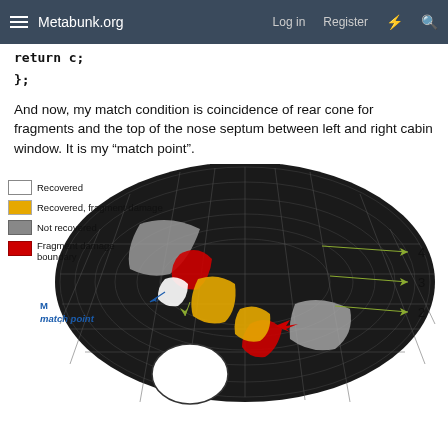Metabunk.org   Log in   Register
And now, my match condition is coincidence of rear cone for fragments and the top of the nose septum between left and right cabin window. It is my “match point”.
[Figure (engineering-diagram): 3D mesh model of aircraft nose section showing recovered (white), recovered with fragment damage (yellow/orange), not recovered (gray), and fragment damage boundary (red) regions. Labels 2, 3, 4 point to features on the right side. A blue arrow marks point M (match point) near the nose septum area.]